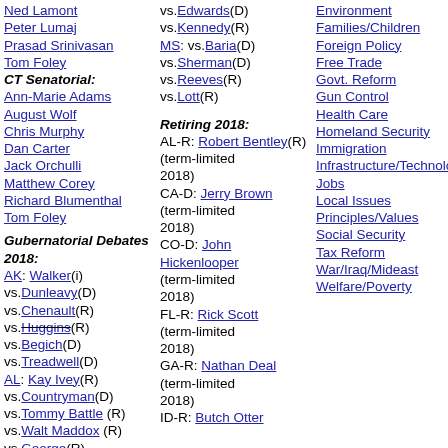Ned Lamont
Peter Lumaj
Prasad Srinivasan
Tom Foley
CT Senatorial:
Ann-Marie Adams
August Wolf
Chris Murphy
Dan Carter
Jack Orchulli
Matthew Corey
Richard Blumenthal
Tom Foley
Gubernatorial Debates 2018:
AK: Walker(i)
vs.Dunleavy(D)
vs.Chenault(R)
vs.Huggins(R)
vs.Begich(D)
vs.Treadwell(D)
AL: Kay Ivey(R)
vs.Countryman(D)
vs.Tommy Battle (R)
vs.Walt Maddox (R)
vs.George(R)
vs.Carrington(R)
AR: Hutchinson(R)
vs.Henderson(D)
vs.Edwards(D)
vs.Kennedy(R)
MS: vs.Baria(D)
vs.Sherman(D)
vs.Reeves(R)
vs.Lott(R)
Retiring 2018:
AL-R: Robert Bentley(R) (term-limited 2018)
CA-D: Jerry Brown (term-limited 2018)
CO-D: John Hickenlooper (term-limited 2018)
FL-R: Rick Scott (term-limited 2018)
GA-R: Nathan Deal (term-limited 2018)
ID-R: Butch Otter
Environment
Families/Children
Foreign Policy
Free Trade
Govt. Reform
Gun Control
Health Care
Homeland Security
Immigration
Infrastructure/Technology
Jobs
Local Issues
Principles/Values
Social Security
Tax Reform
War/Iraq/Mideast
Welfare/Poverty